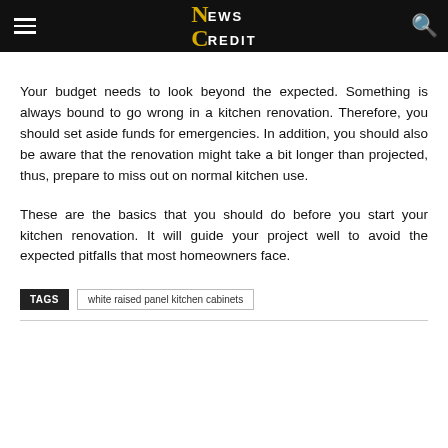NEWS CREDIT
Your budget needs to look beyond the expected. Something is always bound to go wrong in a kitchen renovation. Therefore, you should set aside funds for emergencies. In addition, you should also be aware that the renovation might take a bit longer than projected, thus, prepare to miss out on normal kitchen use.
These are the basics that you should do before you start your kitchen renovation. It will guide your project well to avoid the expected pitfalls that most homeowners face.
TAGS   white raised panel kitchen cabinets